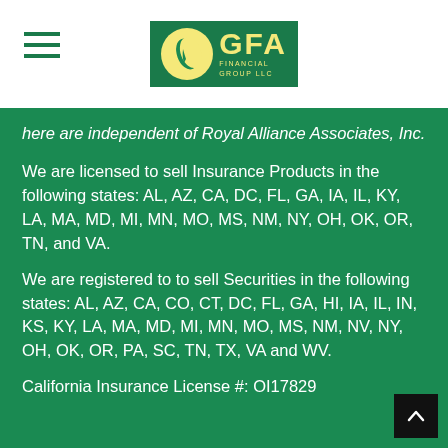[Figure (logo): GFA Financial Group logo with green background, yellow circle with leaf, yellow GFA text]
here are independent of Royal Alliance Associates, Inc.
We are licensed to sell Insurance Products in the following states: AL, AZ, CA, DC, FL, GA, IA, IL, KY, LA, MA, MD, MI, MN, MO, MS, NM, NY, OH, OK, OR, TN, and VA.
We are registered to to sell Securities in the following states: AL, AZ, CA, CO, CT, DC, FL, GA, HI, IA, IL, IN, KS, KY, LA, MA, MD, MI, MN, MO, MS, NM, NV, NY, OH, OK, OR, PA, SC, TN, TX, VA and WV.
California Insurance License #: OI17829